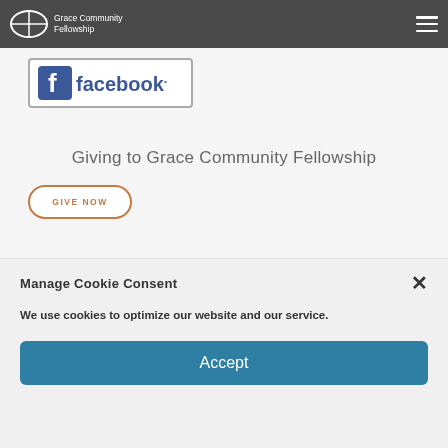Grace Community Fellowship
[Figure (logo): Facebook logo with blue 'f' icon and 'facebook.' text inside a rounded rectangle border]
Giving to Grace Community Fellowship
GIVE NOW
Manage Cookie Consent
We use cookies to optimize our website and our service.
Accept